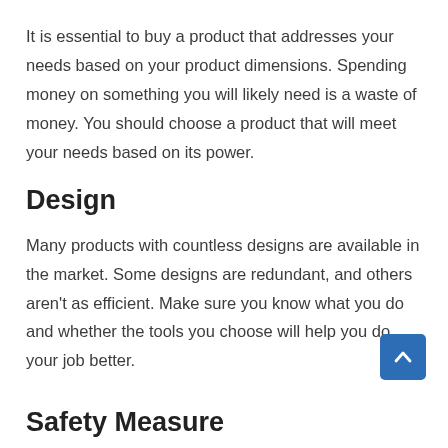It is essential to buy a product that addresses your needs based on your product dimensions. Spending money on something you will likely need is a waste of money. You should choose a product that will meet your needs based on its power.
Design
Many products with countless designs are available in the market. Some designs are redundant, and others aren't as efficient. Make sure you know what you do and whether the tools you choose will help you do your job better.
Safety Measure